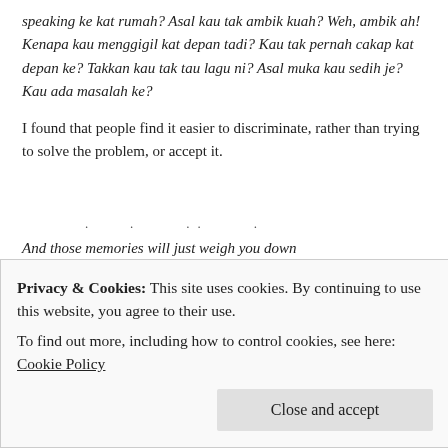speaking ke kat rumah? Asal kau tak ambik kuah? Weh, ambik ah! Kenapa kau menggigil kat depan tadi? Kau tak pernah cakap kat depan ke? Takkan kau tak tau lagu ni? Asal muka kau sedih je? Kau ada masalah ke?
I found that people find it easier to discriminate, rather than trying to solve the problem, or accept it.
. . .. .
And those memories will just weigh you down
'Cause I got no place to keep 'em uptown
I suppose, that slowly but surely, I got used to everything and the sun started to shine again. Made friends – and some very amazing ones, in fact. Who knew I would manage to find a few like-minded people in the
Privacy & Cookies: This site uses cookies. By continuing to use this website, you agree to their use.
To find out more, including how to control cookies, see here: Cookie Policy